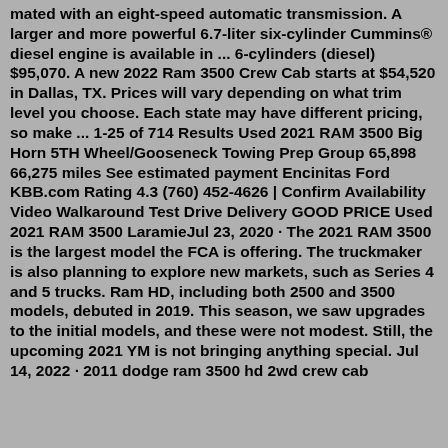mated with an eight-speed automatic transmission. A larger and more powerful 6.7-liter six-cylinder Cummins® diesel engine is available in ... 6-cylinders (diesel) $95,070. A new 2022 Ram 3500 Crew Cab starts at $54,520 in Dallas, TX. Prices will vary depending on what trim level you choose. Each state may have different pricing, so make ... 1-25 of 714 Results Used 2021 RAM 3500 Big Horn 5TH Wheel/Gooseneck Towing Prep Group 65,898 66,275 miles See estimated payment Encinitas Ford KBB.com Rating 4.3 (760) 452-4626 | Confirm Availability Video Walkaround Test Drive Delivery GOOD PRICE Used 2021 RAM 3500 LaramieJul 23, 2020 · The 2021 RAM 3500 is the largest model the FCA is offering. The truckmaker is also planning to explore new markets, such as Series 4 and 5 trucks. Ram HD, including both 2500 and 3500 models, debuted in 2019. This season, we saw upgrades to the initial models, and these were not modest. Still, the upcoming 2021 YM is not bringing anything special. Jul 14, 2022 · 2011 dodge ram 3500 hd 2wd crew cab